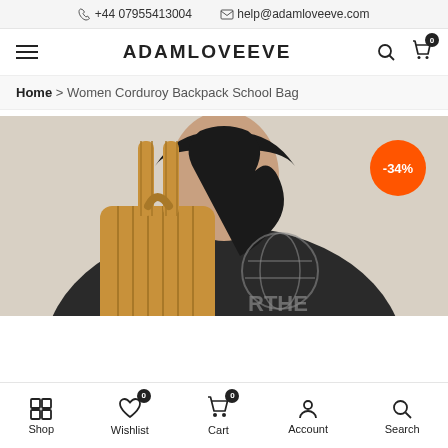+44 07955413004  help@adamloveeve.com
ADAMLOVEEVE
Home > Women Corduroy Backpack School Bag
[Figure (photo): Woman wearing a black hoodie carrying a tan corduroy backpack. A circular orange badge shows -34% discount.]
Shop  Wishlist  Cart  Account  Search